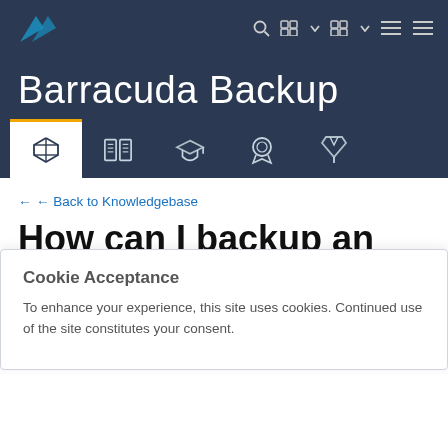[Figure (logo): Barracuda logo - white chevron/wave mark on dark navy background]
Barracuda Backup
[Figure (infographic): Navigation tabs with icons: cube (active), open book, graduation cap, award/badge, download arrow]
← Back to Knowledgebase
How can I backup an active/passive SQL
Cookie Acceptance
To enhance your experience, this site uses cookies. Continued use of the site constitutes your consent.